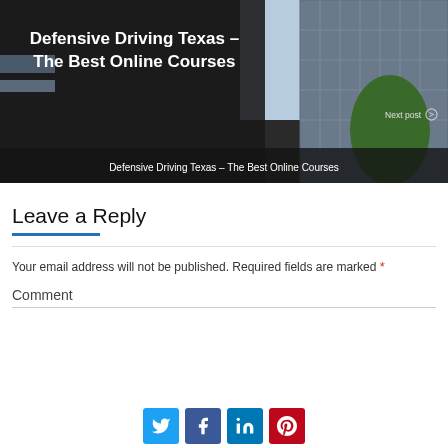[Figure (photo): Hero banner with dark overlay showing a building exterior. White bold text reads 'Defensive Driving Texas - The Best Online Courses'. Bottom bar shows subtitle text. 'Next post' label with circle icon on right side.]
Leave a Reply
Your email address will not be published. Required fields are marked *
Comment
[Figure (infographic): Row of four social share buttons: Twitter (blue bird icon), Facebook (dark blue f icon), LinkedIn (blue in icon), Pinterest (red P icon)]